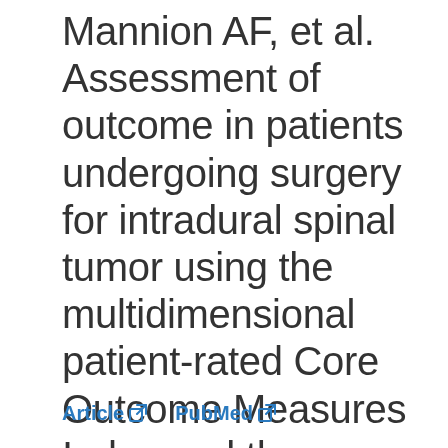Mannion AF, et al. Assessment of outcome in patients undergoing surgery for intradural spinal tumor using the multidimensional patient-rated Core Outcome Measures Index and the modified McCormick Scale. Neurosurg Focus 2015 39:E2.
Article  PubMed